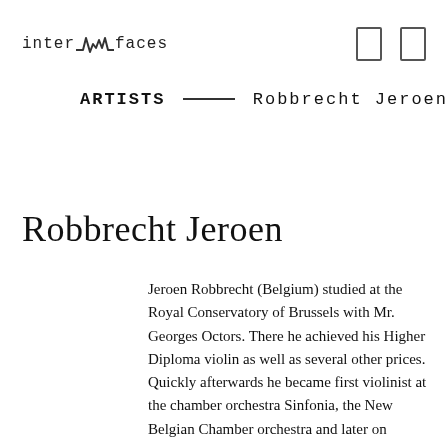inter faces
ARTISTS — Robbrecht Jeroen
Robbrecht Jeroen
Jeroen Robbrecht (Belgium) studied at the Royal Conservatory of Brussels with Mr. Georges Octors. There he achieved his Higher Diploma violin as well as several other prices.
Quickly afterwards he became first violinist at the chamber orchestra Sinfonia, the New Belgian Chamber orchestra and later on